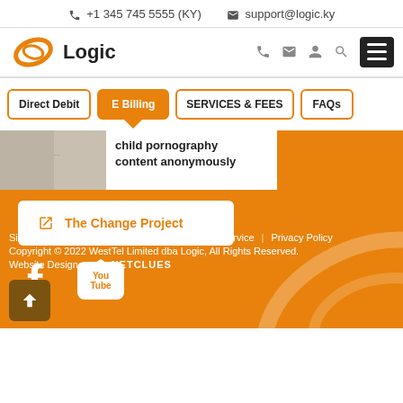+1 345 745 5555 (KY)   support@logic.ky
[Figure (logo): Logic company logo with orange swirl and bold text 'Logic']
Direct Debit | E Billing | SERVICES & FEES | FAQs
[Figure (screenshot): Partial preview image with text 'child pornography content anonymously']
The Change Project
[Figure (other): Facebook and YouTube social media icons on orange background]
Site Map | Acceptable Use Policy | Terms of Service | Privacy Policy
Copyright © 2022 WestTel Limited dba Logic, All Rights Reserved.
Website Designer: NETCLUES